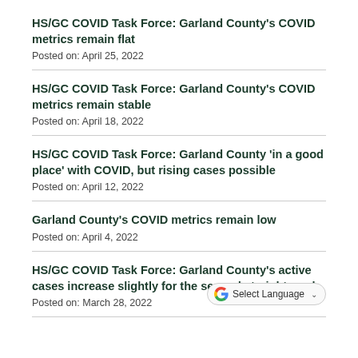HS/GC COVID Task Force: Garland County's COVID metrics remain flat
Posted on: April 25, 2022
HS/GC COVID Task Force: Garland County's COVID metrics remain stable
Posted on: April 18, 2022
HS/GC COVID Task Force: Garland County ‘in a good place’ with COVID, but rising cases possible
Posted on: April 12, 2022
Garland County’s COVID metrics remain low
Posted on: April 4, 2022
HS/GC COVID Task Force: Garland County’s active cases increase slightly for the second straight week
Posted on: March 28, 2022